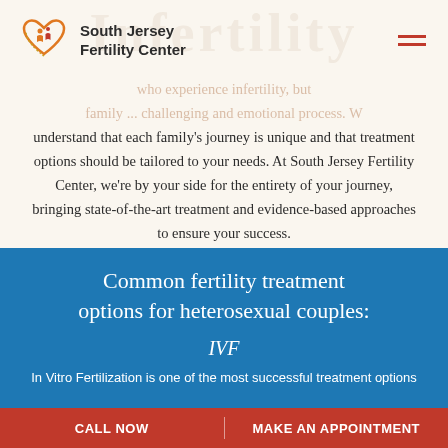[Figure (logo): South Jersey Fertility Center logo with orange/red heart and figures icon]
South Jersey Fertility Center
who experience infertility, but family ... challenging and emotional process. We understand that each family's journey is unique and that treatment options should be tailored to your needs. At South Jersey Fertility Center, we're by your side for the entirety of your journey, bringing state-of-the-art treatment and evidence-based approaches to ensure your success.
Common fertility treatment options for heterosexual couples:
IVF
In Vitro Fertilization is one of the most successful treatment options
CALL NOW    MAKE AN APPOINTMENT